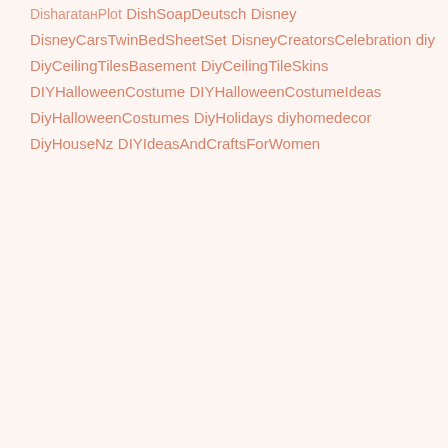DisharataнPlot
DishSoapDeutsch
Disney
DisneyCarsTwinBedSheetSet
DisneyCreatorsCelebration
diy
DiyCeilingTilesBasement
DiyCeilingTileSkins
DIYHalloweenCostume
DIYHalloweenCostumeIdeas
DiyHalloweenCostumes
DiyHolidays
diyhomedecor
DiyHouseNz
DIYIdeasAndCraftsForWomen